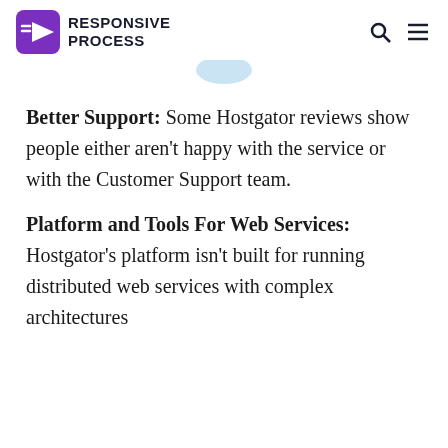RESPONSIVE PROCESS
[Figure (illustration): Partial blue shield/logo icon visible at top center]
Better Support: Some Hostgator reviews show people either aren't happy with the service or with the Customer Support team.
Platform and Tools For Web Services: Hostgator's platform isn't built for running distributed web services with complex architectures